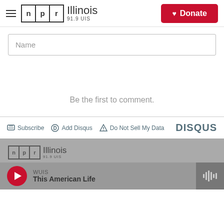NPR Illinois 91.9 UIS — Donate
Name
Be the first to comment.
Subscribe  Add Disqus  Do Not Sell My Data  DISQUS
[Figure (logo): NPR Illinois 91.9 UIS logo in footer]
WUIS
This American Life